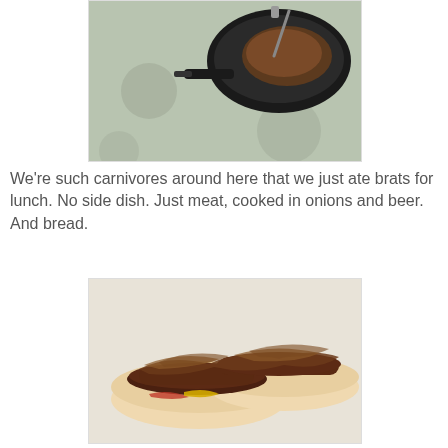[Figure (photo): A cast iron skillet with cooked food on a stovetop with circular burner marks.]
We're such carnivores around here that we just ate brats for lunch. No side dish. Just meat, cooked in onions and beer. And bread.
[Figure (photo): Two bratwurst sausages in buns topped with caramelized onions, mustard, and ketchup on a white plate.]